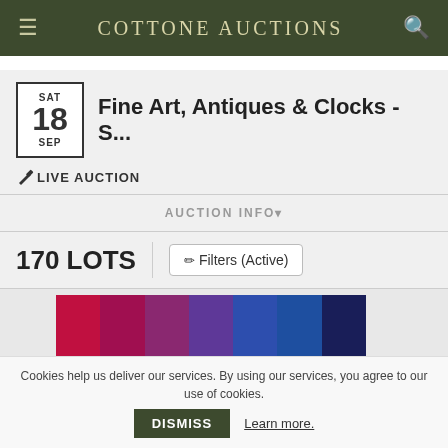Cottone Auctions
Fine Art, Antiques & Clocks - S...
SAT 18 SEP
🔨 LIVE AUCTION
AUCTION INFO▾
170 LOTS
Filters (Active)
[Figure (illustration): Color strip showing gradient from crimson/red through purple to dark navy blue swatches]
5 PAGES
LIMIT
‹  1  Go  ›  36▲
Cookies help us deliver our services. By using our services, you agree to our use of cookies.
DISMISS  Learn more.